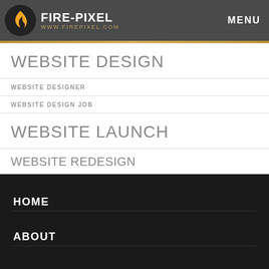FIRE-PIXEL www.firepixel.com MENU
WEBSITE DESIGN
WEBSITE DESIGNER
WEBSITE DESIGN JOB
WEBSITE LAUNCH
WEBSITE REDESIGN
WEBSITE UPDATE
WEBSITE UPDATES
WORDPRESS TEMPLATE
WORDPRESS WEBSITE
HOME
ABOUT